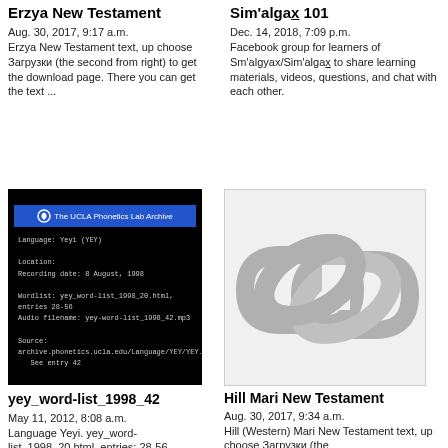Erzya New Testament
Aug. 30, 2017, 9:17 a.m.
Erzya New Testament text, up choose Загрузки (the second from right) to get the download page. There you can get the text ...
Sim'algaX 101
Dec. 14, 2018, 7:09 p.m.
Facebook group for learners of Sm'algyax/Sim'algax to share learning materials, videos, questions, and chat with each other.
[Figure (screenshot): Screenshot of UCLA Phonetics Lab Archive website showing Yeyi (YEY) language entry with recording date 8 August 1998]
yey_word-list_1998_42
May 11, 2012, 8:08 a.m.
Language Yeyi. yey_word-list_1998_20.html, entries: 28-56
[Figure (illustration): Gray chain link icon indicating a hyperlink]
Hill Mari New Testament
Aug. 30, 2017, 9:34 a.m.
Hill (Western) Mari New Testament text, up choose Загрузки (the ...